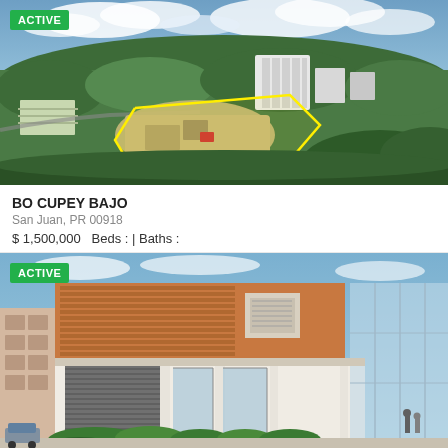[Figure (photo): Aerial drone photo of vacant land parcel outlined in yellow, surrounded by green vegetation, with residential buildings visible in background and cloudy sky. Green ACTIVE badge in top-left corner.]
BO CUPEY BAJO
San Juan, PR 00918
$ 1,500,000   Beds : | Baths :
[Figure (photo): Street-level photo of a commercial building with terracotta/orange facade, horizontal louvered panels, large glass storefronts, white columns, and green shrubs in front. Green ACTIVE badge in top-left corner.]